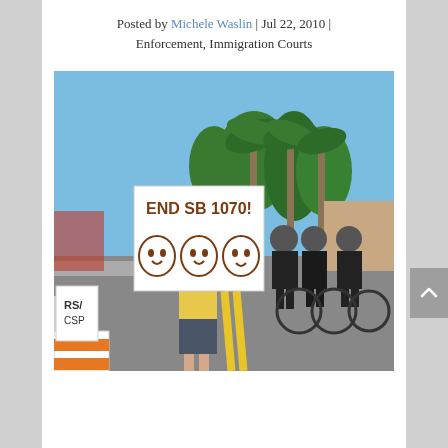Posted by Michele Waslin | Jul 22, 2010 | Enforcement, Immigration Courts
[Figure (photo): A protest scene on a street. A woman in a yellow shirt and denim skirt holds a sign reading 'END SB 1070!' with illustrated faces on it. Behind her, police officers in black uniforms stand with bicycles. Palm trees and a blue sky are visible in the background. Orange traffic barriers are visible on the left edge.]